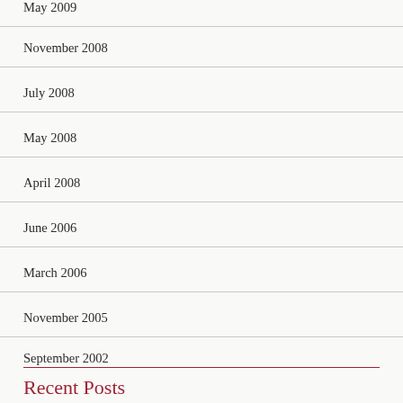May 2009
November 2008
July 2008
May 2008
April 2008
June 2006
March 2006
November 2005
September 2002
Recent Posts